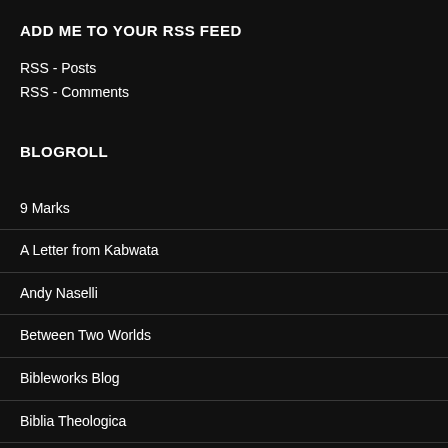ADD ME TO YOUR RSS FEED
RSS - Posts
RSS - Comments
BLOGROLL
9 Marks
A Letter from Kabwata
Andy Naselli
Between Two Worlds
Bibleworks Blog
Biblia Theologica
Biblical Christianity